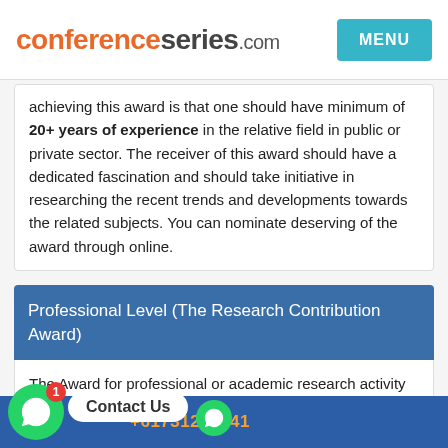conferenceseries.com  MENU
achieving this award is that one should have minimum of 20+ years of experience in the relative field in public or private sector. The receiver of this award should have a dedicated fascination and should take initiative in researching the recent trends and developments towards the related subjects. You can nominate deserving of the award through online.
Professional Level (The Research Contribution Award)
The Award for professional or academic research activity acquired in Pharma research field in the public or private sector for experts having relevant knowledge at 10+ years in the field of time research experience would be counted as pro-